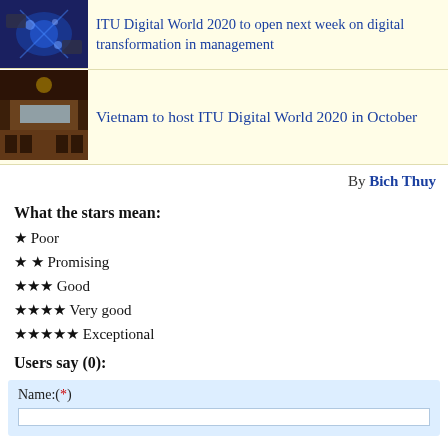[Figure (photo): Thumbnail image for ITU Digital World 2020 article about digital transformation in management]
ITU Digital World 2020 to open next week on digital transformation in management
[Figure (photo): Thumbnail image for Vietnam hosting ITU Digital World 2020 in October article]
Vietnam to host ITU Digital World 2020 in October
By Bich Thuy
What the stars mean:
★ Poor
★ ★ Promising
★★★ Good
★★★★ Very good
★★★★★ Exceptional
Users say (0):
Name:(*)